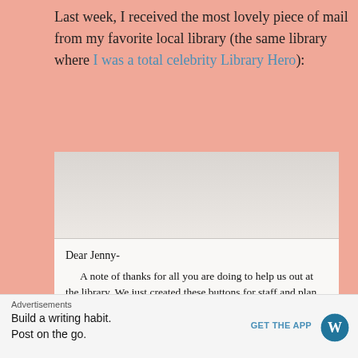Last week, I received the most lovely piece of mail from my favorite local library (the same library where I was a total celebrity Library Hero):
[Figure (photo): A photograph of a handwritten note/letter. The top portion shows a white card or envelope interior. The bottom shows handwritten text in black ink on white paper reading: 'Dear Jenny- A note of thanks for all you are doing to help us out at the library. We just created these buttons for staff and plan to offer them to members [continues below visible area]'. There is also a circular close/X button overlay in the bottom-right corner.]
Advertisements
Build a writing habit. Post on the go. | GET THE APP [WordPress logo]